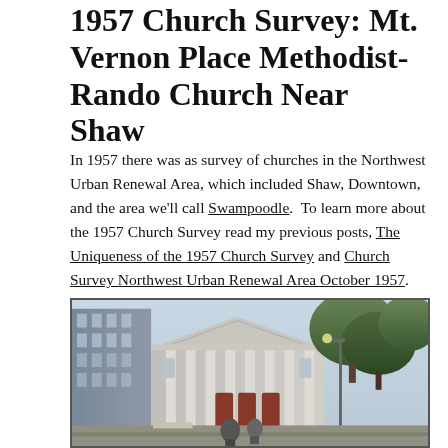1957 Church Survey: Mt. Vernon Place Methodist-Rando Church Near Shaw
In 1957 there was as survey of churches in the Northwest Urban Renewal Area, which included Shaw, Downtown, and the area we'll call Swampoodle.  To learn more about the 1957 Church Survey read my previous posts, The Uniqueness of the 1957 Church Survey and Church Survey Northwest Urban Renewal Area October 1957.
[Figure (photo): Exterior photograph of Mt. Vernon Place Methodist church, a classical building with large white columns and triangular pediment, with trees to the right and a modern building visible on the left, street-level view.]